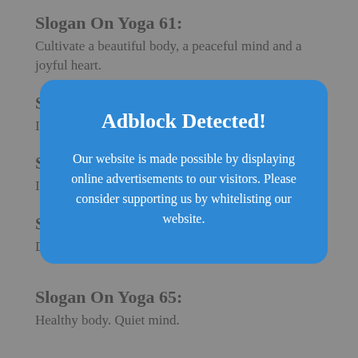Slogan On Yoga 61:
Cultivate a beautiful body, a peaceful mind and a joyful heart.
Slo
Ins
Slo
Imp
Slo
Discover yoga health. Discover yourself.
Slogan On Yoga 65:
Healthy body. Quiet mind.
[Figure (screenshot): Adblock Detected modal dialog overlay with blue rounded rectangle background. Title: 'Adblock Detected!' Body text: 'Our website is made possible by displaying online advertisements to our visitors. Please consider supporting us by whitelisting our website.']